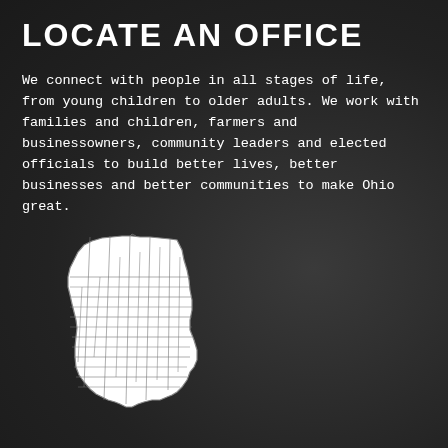LOCATE AN OFFICE
We connect with people in all stages of life, from young children to older adults. We work with families and children, farmers and businessowners, community leaders and elected officials to build better lives, better businesses and better communities to make Ohio great.
[Figure (map): Outline map of Ohio showing county divisions, white fill with gray borders on dark background]
Locate an office in my county